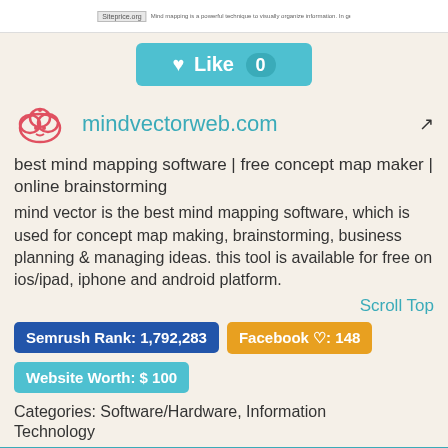[Figure (screenshot): Top bar with Siteprice.org logo and small text about mind maps]
[Figure (screenshot): Teal Like button with heart icon and count 0]
[Figure (logo): mindvectorweb.com cloud icon logo in pink/red]
mindvectorweb.com
best mind mapping software | free concept map maker | online brainstorming
mind vector is the best mind mapping software, which is used for concept map making, brainstorming, business planning & managing ideas. this tool is available for free on ios/ipad, iphone and android platform.
Scroll Top
Semrush Rank: 1,792,283
Facebook ♡: 148
Website Worth: $ 100
Categories: Software/Hardware, Information Technology